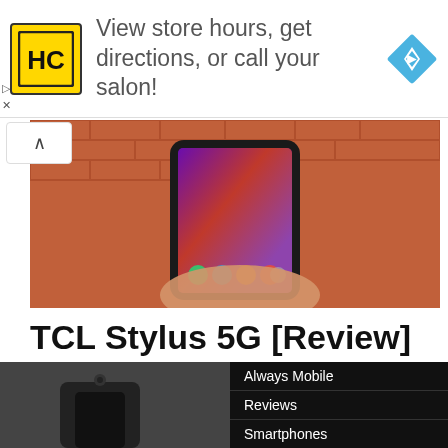[Figure (infographic): Ad banner: HC logo (yellow square with HC letters), text 'View store hours, get directions, or call your salon!', blue diamond navigation icon]
[Figure (photo): A hand holding a TCL Stylus 5G smartphone against a brick wall background, showing the phone's screen with colorful app icons]
TCL Stylus 5G [Review]
This year TCL had a slew of smartphones coming from their 30...
Jason Million · July 31, 2022 · 4 minute read
[Figure (photo): Bottom left partial image, black and white]
Always Mobile
Reviews
Smartphones